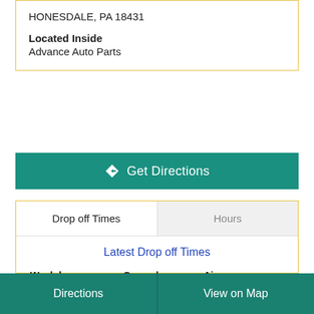HONESDALE, PA 18431
Located Inside
Advance Auto Parts
Get Directions
Drop off Times
Hours
Latest Drop off Times
| Weekday | Ground | Air |
| --- | --- | --- |
| Mon - Fri | 3:30 PM | 3:30 PM |
| Sat | – | – |
Directions   View on Map